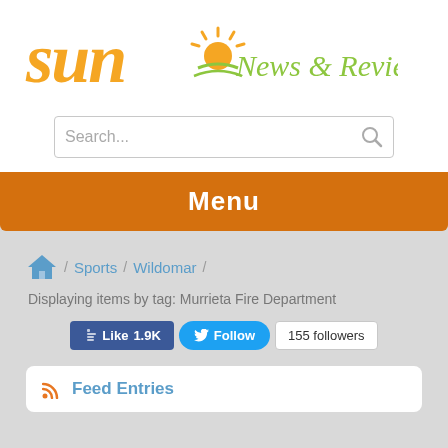[Figure (logo): Sun News & Review logo with sun graphic and green italic text]
Search...
Menu
/ Sports / Wildomar /
Displaying items by tag: Murrieta Fire Department
Like 1.9K   Follow   155 followers
Feed Entries